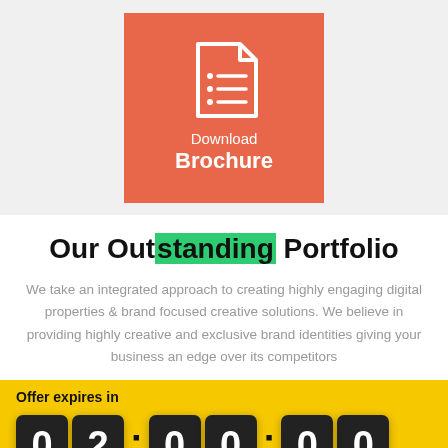[Figure (illustration): Orange/salmon colored square button with a white document icon (list/lines inside a page shape) and white text reading 'Download Brochure' on a light gray background]
Our Outstanding Portfolio
We take an integrated approach to creating highly engaging digital properties & brand focused creative solutions. We believe in providing highly creative and exclusive brand identities giving your business an edge over its competitors
Offer expires in
[Figure (infographic): Yellow background countdown timer showing 02:00:00 with dark flip-clock style digit blocks]